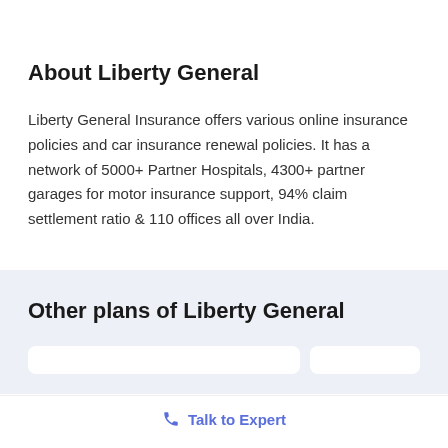About Liberty General
Liberty General Insurance offers various online insurance policies and car insurance renewal policies. It has a network of 5000+ Partner Hospitals, 4300+ partner garages for motor insurance support, 94% claim settlement ratio & 110 offices all over India.
Other plans of Liberty General
Talk to Expert